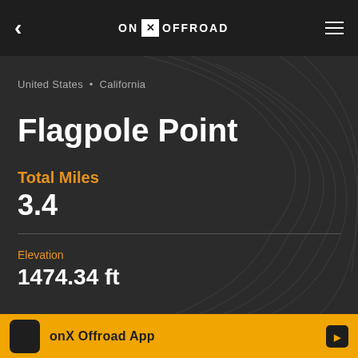ON X OFFROAD
United States • California
Flagpole Point
Total Miles
3.4
Elevation
1474.34 ft
onX Offroad App